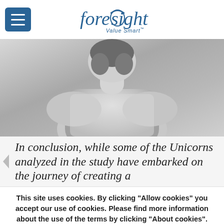foresight Value Smart
[Figure (photo): Black and white photo of a person seen from behind, wearing a light-colored t-shirt, with short hair.]
In conclusion, while some of the Unicorns analyzed in the study have embarked on the journey of creating a
This site uses cookies. By clicking "Allow cookies" you accept our use of cookies. Please find more information about the use of the terms by clicking "About cookies".
About Cookies
Allow Cookies